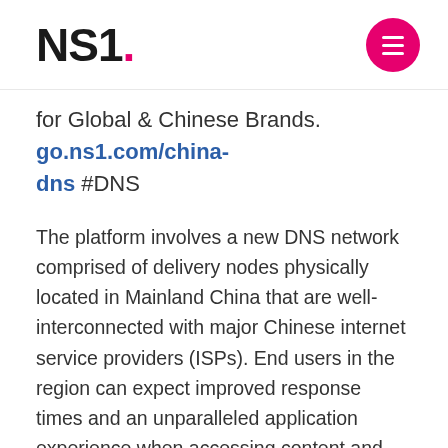NS1.
for Global & Chinese Brands. go.ns1.com/china-dns #DNS
The platform involves a new DNS network comprised of delivery nodes physically located in Mainland China that are well-interconnected with major Chinese internet service providers (ISPs). End users in the region can expect improved response times and an unparalleled application experience when accessing content and applications powered by NS1's Managed DNS for China platform.